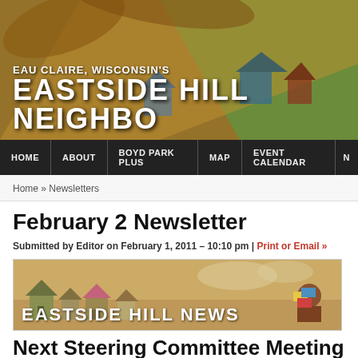[Figure (illustration): Illustrated header banner for Eau Claire, Wisconsin's Eastside Hill Neighborhood website, showing colorful painted houses and trees]
EAU CLAIRE, WISCONSIN'S EASTSIDE HILL NEIGHBO
HOME | ABOUT | BOYD PARK PLUS | MAP | EVENT CALENDAR | N
Home » Newsletters
February 2 Newsletter
Submitted by Editor on February 1, 2011 – 10:10 pm | Print or Email »
[Figure (illustration): Eastside Hill News newsletter banner image showing illustrated houses and a person reading mail]
Next Steering Committee Meeting D